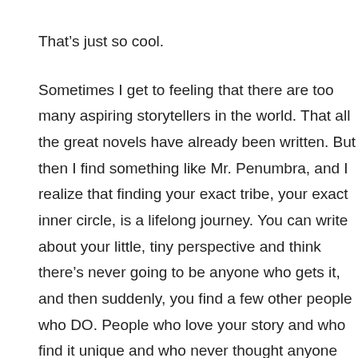That’s just so cool.
Sometimes I get to feeling that there are too many aspiring storytellers in the world. That all the great novels have already been written. But then I find something like Mr. Penumbra, and I realize that finding your exact tribe, your exact inner circle, is a lifelong journey. You can write about your little, tiny perspective and think there’s never going to be anyone who gets it, and then suddenly, you find a few other people who DO. People who love your story and who find it unique and who never thought anyone would GET them, either.
It delights me to be the perfect audience for at least two